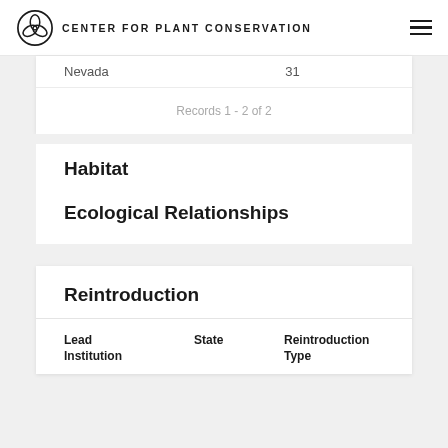CENTER FOR PLANT CONSERVATION
|  |  |
| --- | --- |
| Nevada | 31 |
Records 1 - 2 of 2
Habitat
Ecological Relationships
Reintroduction
| Lead Institution | State | Reintroduction Type |
| --- | --- | --- |